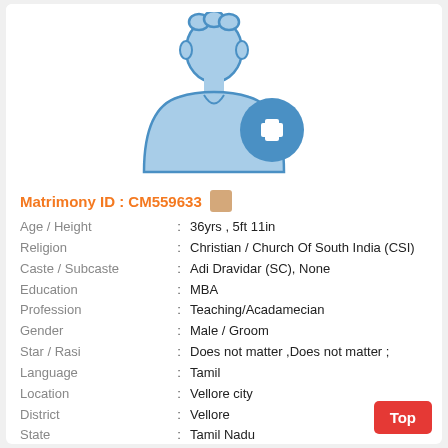[Figure (illustration): A placeholder silhouette of a male person with a blue circle containing a white plus sign in the lower right, indicating add photo.]
Matrimony ID : CM559633
Age / Height : 36yrs , 5ft 11in
Religion : Christian / Church Of South India (CSI)
Caste / Subcaste : Adi Dravidar (SC), None
Education : MBA
Profession : Teaching/Acadamecian
Gender : Male / Groom
Star / Rasi : Does not matter ,Does not matter ;
Language : Tamil
Location : Vellore city
District : Vellore
State : Tamil Nadu
Country : India